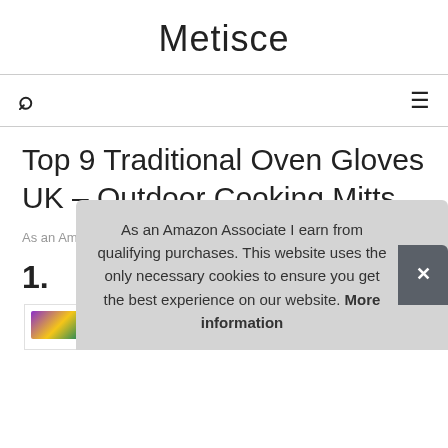Metisce
Top 9 Traditional Oven Gloves UK – Outdoor Cooking Mitts
As an Amazon Associate I earn from qualifying purchases.
1.
As an Amazon Associate I earn from qualifying purchases. This website uses the only necessary cookies to ensure you get the best experience on our website. More information